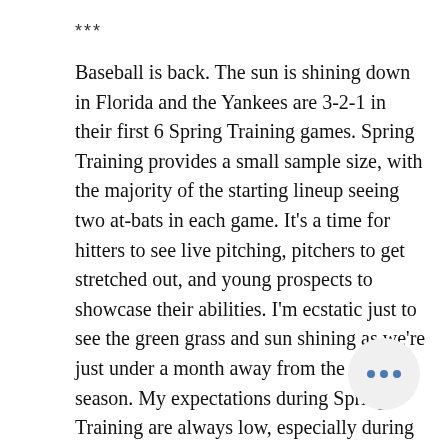***
Baseball is back. The sun is shining down in Florida and the Yankees are 3-2-1 in their first 6 Spring Training games. Spring Training provides a small sample size, with the majority of the starting lineup seeing two at-bats in each game. It’s a time for hitters to see live pitching, pitchers to get stretched out, and young prospects to showcase their abilities. I’m ecstatic just to see the green grass and sun shining as we’re just under a month away from the regular season. My expectations during Spring Training are always low, especially during the first week of play.
Pitchers never get me worried in the first few outings. Remember when Gerrit Cole let up 6 earned runs in his third